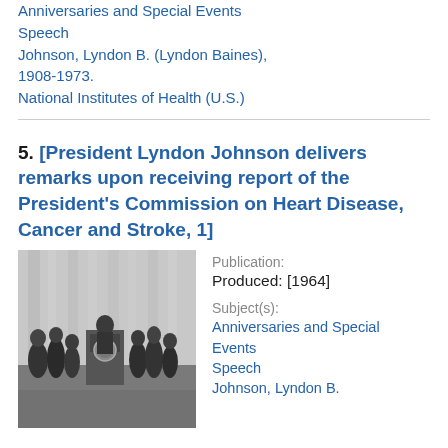Anniversaries and Special Events
Speech
Johnson, Lyndon B. (Lyndon Baines), 1908-1973.
National Institutes of Health (U.S.)
5. [President Lyndon Johnson delivers remarks upon receiving report of the President's Commission on Heart Disease, Cancer and Stroke, 1]
[Figure (photo): Black and white photograph of President Lyndon Johnson at a podium with the Presidential seal, surrounded by a group of men in suits, with curtains in the background.]
Publication:
Produced: [1964]
Subject(s):
Anniversaries and Special Events
Speech
Johnson, Lyndon B.